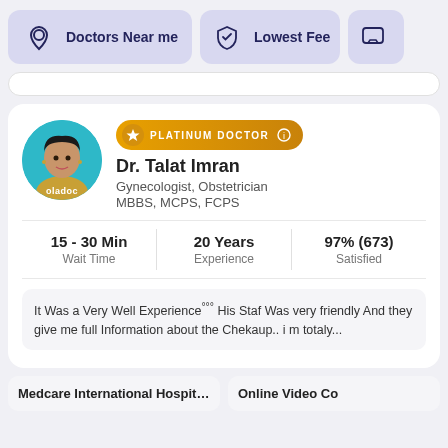[Figure (screenshot): Navigation buttons: 'Doctors Near me' with location pin icon, 'Lowest Fee' with shield icon, and a partially visible chat icon button]
Dr. Talat Imran
PLATINUM DOCTOR
Gynecologist, Obstetrician
MBBS, MCPS, FCPS
15 - 30 Min
Wait Time
20 Years
Experience
97% (673)
Satisfied
It Was a Very Well Experience°°° His Staf Was very friendly And they give me full Information about the Chekaup.. i m totaly...
Medcare International Hospital (Ci...
Online Video Co